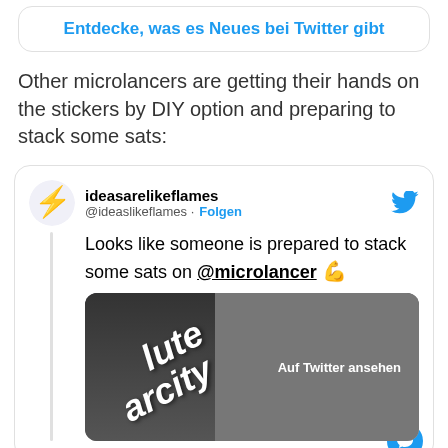[Figure (screenshot): Twitter/X button: 'Entdecke, was es Neues bei Twitter gibt']
Other microlancers are getting their hands on the stickers by DIY option and preparing to stack some sats:
[Figure (screenshot): Tweet by @ideaslikeflames: 'Looks like someone is prepared to stack some sats on @microlancer 💪' with image of sticker reading 'absolute scarcity' and overlay 'Auf Twitter ansehen']